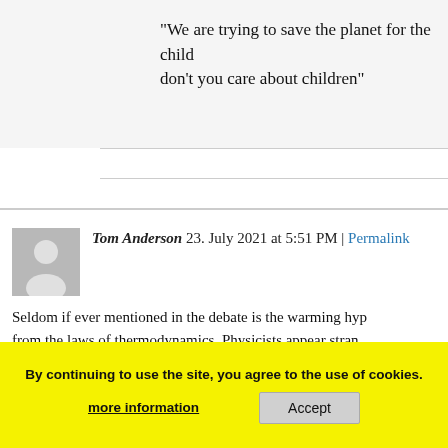“We are trying to save the planet for the children, don’t you care about children”
Tom Anderson 23. July 2021 at 5:51 PM | Permalink
Seldom if ever mentioned in the debate is the warming hypothesis from the laws of thermodynamics. Physicists appear strangely absent from the debate. It almost entirely surrounds how much a trace gas, absorbing solar irradiance at its quantum energy levels, can cause an atmosphere with energy entering it, such that it makes more energy. There was an exchange in Anthony Watts’s page about a physicist’s thoughts on a radiantly active molecule transferring its energy to an adjacent a near molecule, raising it thermally to exactly equivalent levels of energy. The discussion that followed wound blindly through excuses for how CO2s emitted energy transformed somehow excuse for how CO2s emitted energy transformed somehow
By continuing to use the site, you agree to the use of cookies.
more information   Accept